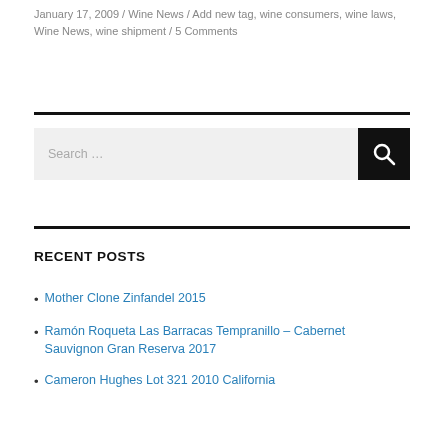January 17, 2009 / Wine News / Add new tag, wine consumers, wine laws, Wine News, wine shipment / 5 Comments
Search …
RECENT POSTS
Mother Clone Zinfandel 2015
Ramón Roqueta Las Barracas Tempranillo – Cabernet Sauvignon Gran Reserva 2017
Cameron Hughes Lot 321 2010 California